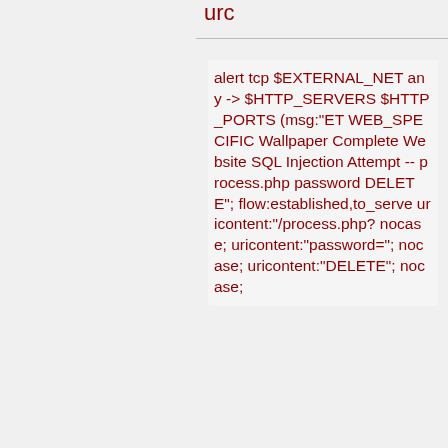urc
alert tcp $EXTERNAL_NET any -> $HTTP_SERVERS $HTTP_PORTS (msg:"ET WEB_SPECIFIC Wallpaper Complete Website SQL Injection Attempt -- process.php password DELETE"; flow:established,to_serve uricontent:"/process.php? nocase; uricontent:"password="; nocase; uricontent:"DELETE"; nocase;